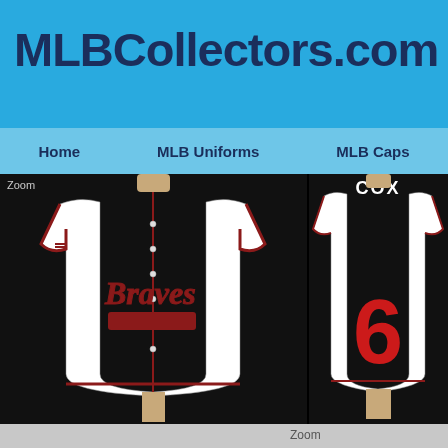MLBCollectors.com
Home | MLB Uniforms | MLB Caps
[Figure (photo): Front view of Atlanta Braves white home jersey with 'Braves' script and tomahawk logo, displayed on a mannequin against dark background. Zoom label visible top-left.]
[Figure (photo): Back view of Atlanta Braves white home jersey showing 'COX' name and number 6 in red, displayed on a mannequin against dark background.]
[Figure (photo): Partial bottom area with Zoom label visible, lighter gray background.]